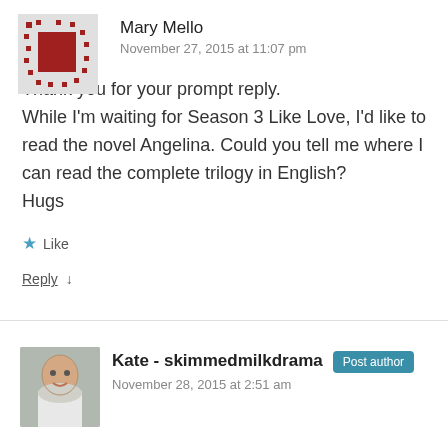[Figure (illustration): Avatar icon for Mary Mello — pixelated pattern with red square center on grey grid background]
Mary Mello
November 27, 2015 at 11:07 pm
Thank you for your prompt reply.
While I'm waiting for Season 3 Like Love, I'd like to read the novel Angelina. Could you tell me where I can read the complete trilogy in English?
Hugs
★ Like
Reply ↓
[Figure (photo): Avatar photo of Kate - skimmedmilkdrama, a person smiling]
Kate - skimmedmilkdrama  Post author
November 28, 2015 at 2:51 am